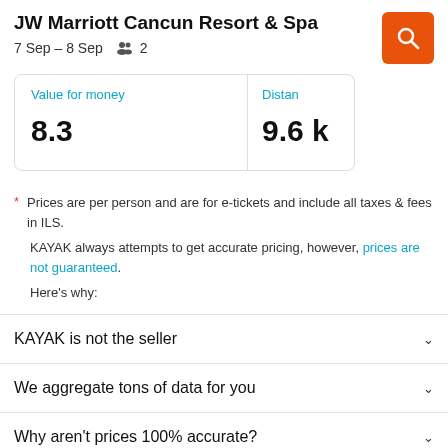JW Marriott Cancun Resort & Spa
7 Sep – 8 Sep   2
| Value for money | Distance |
| --- | --- |
| 8.3 | 9.6 |
* Prices are per person and are for e-tickets and include all taxes & fees in ILS.
KAYAK always attempts to get accurate pricing, however, prices are not guaranteed.
Here's why:
KAYAK is not the seller
We aggregate tons of data for you
Why aren't prices 100% accurate?